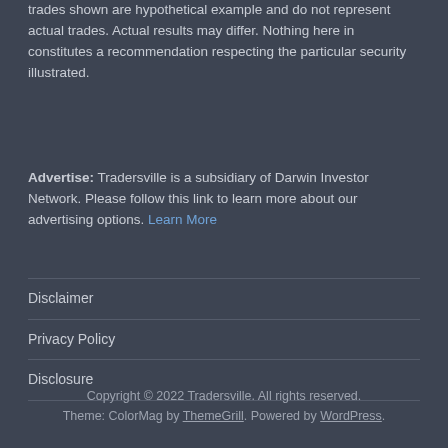trades shown are hypothetical example and do not represent actual trades. Actual results may differ. Nothing here in constitutes a recommendation respecting the particular security illustrated.
Advertise: Tradersville is a subsidiary of Darwin Investor Network. Please follow this link to learn more about our advertising options. Learn More
Disclaimer
Privacy Policy
Disclosure
Copyright © 2022 Tradersville. All rights reserved. Theme: ColorMag by ThemeGrill. Powered by WordPress.